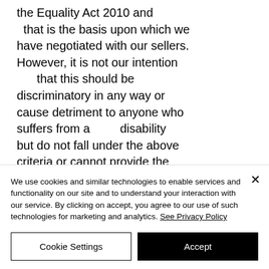the Equality Act 2010 and that is the basis upon which we have negotiated with our sellers. However, it is not our intention that this should be discriminatory in any way or cause detriment to anyone who suffers from a disability but do not fall under the above criteria or cannot provide the proof specified. If this is the case, then please contact us so that we can review your
We use cookies and similar technologies to enable services and functionality on our site and to understand your interaction with our service. By clicking on accept, you agree to our use of such technologies for marketing and analytics. See Privacy Policy
Cookie Settings
Accept